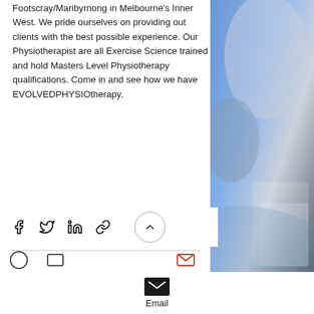Footscray/Maribyrnong in Melbourne's Inner West. We pride ourselves on providing out clients with the best possible experience. Our Physiotherapist are all Exercise Science trained and hold Masters Level Physiotherapy qualifications. Come in and see how we have EVOLVEDPHYSIOtherapy.
[Figure (photo): Abstract blue and grey metallic/technological image on the right side panel]
[Figure (infographic): Social sharing bar with Facebook, Twitter, LinkedIn, link icons and an up/scroll-to-top button]
[Figure (infographic): Email icon with label 'Email' in bottom bar]